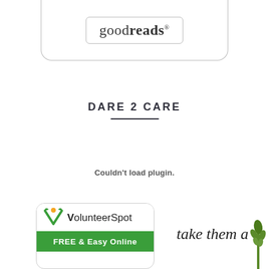[Figure (logo): Goodreads logo inside a rounded rectangle border box, partially cropped at top]
DARE 2 CARE
Couldn't load plugin.
[Figure (logo): VolunteerSpot badge with green background and FREE & Easy Online text]
[Figure (illustration): Handwritten script text 'take them a...' with asparagus illustration]